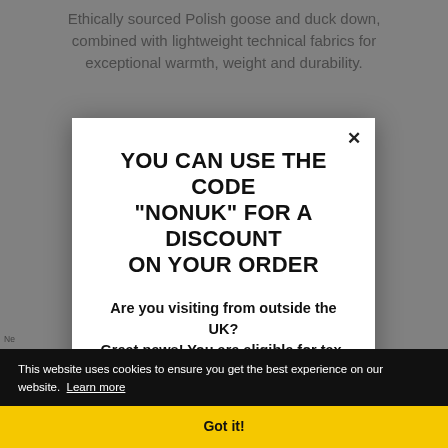Ethically sourced Polish goose and duck down, combined with lightweight technical fabrics for exceptional warmth, weight and durability.
Ne
Ad
sh
YOU CAN USE THE CODE "NONUK" FOR A DISCOUNT ON YOUR ORDER
Are you visiting from outside the UK? Great news! You are eligible for tax-free shopping
For more information regarding pricing and
This website uses cookies to ensure you get the best experience on our website. Learn more
Got it!